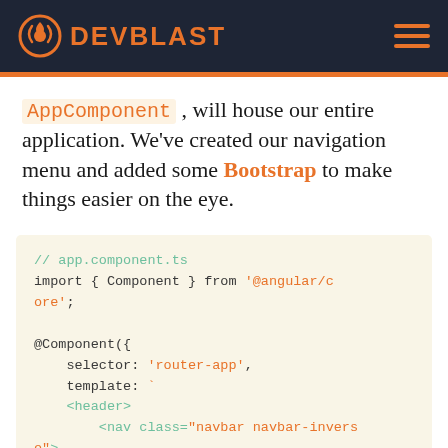DEVBLAST
AppComponent , will house our entire application. We've created our navigation menu and added some Bootstrap to make things easier on the eye.
[Figure (screenshot): Code block showing app.component.ts Angular code with import, @Component decorator, selector, template, header, nav and div elements]